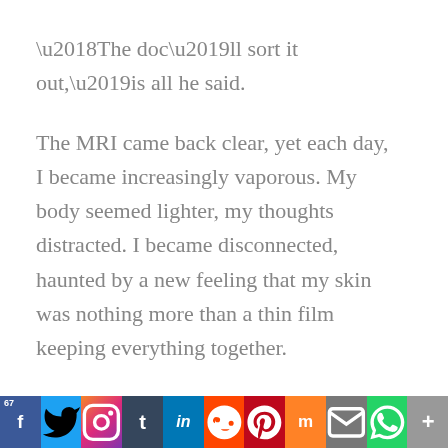‘The doc’ll sort it out,’is all he said.
The MRI came back clear, yet each day, I became increasingly vaporous. My body seemed lighter, my thoughts distracted. I became disconnected, haunted by a new feeling that my skin was nothing more than a thin film keeping everything together.
Inside, I was dispersing, little-by-little.
*
Out for a walk with Oscar one day, it
67